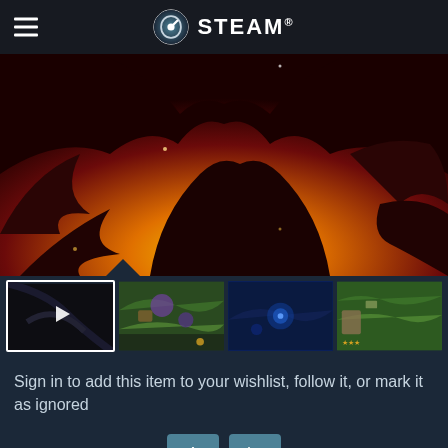STEAM
[Figure (screenshot): Dark fantasy game artwork showing a silhouetted demon/dragon figure against a fiery orange and yellow background]
[Figure (screenshot): Row of four game thumbnails: first is a video thumbnail with play button (dark scene), second shows a colorful strategy game map with purple/green terrain, third shows a blue-toned scene with glowing effects, fourth shows a green terrain strategy map]
Sign in to add this item to your wishlist, follow it, or mark it as ignored
[Figure (other): Two teal/dark-blue icon buttons: a share/upload icon and a flag icon]